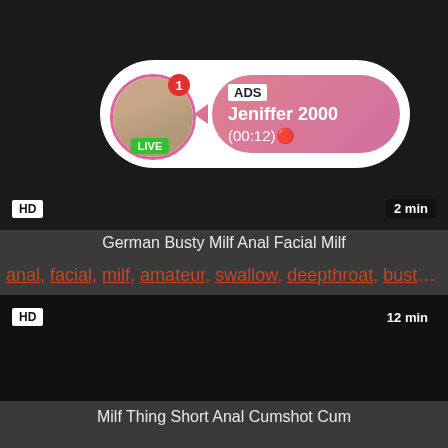[Figure (screenshot): Top video thumbnail black with ad overlay showing avatar with LIVE badge, ADS label, name Jeniffer 2000, time (00:12), HD badge and 2 min badge]
German Busty Milf Anal Facial Milf
anal, facial, milf, amateur, swallow, deepthroat, busty, dp...
[Figure (screenshot): Bottom video thumbnail, all black, HD badge bottom left, 12 min badge bottom right]
Milf Thing Short Anal Cumshot Cum